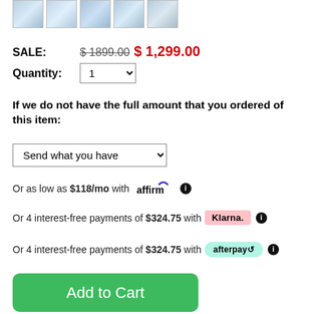[Figure (photo): Row of 5 product thumbnail images showing medical/lab equipment]
SALE: $ 1899.00 $ 1,299.00
Quantity: 1
If we do not have the full amount that you ordered of this item:
Send what you have
Or as low as $118/mo with affirm ℹ
Or 4 interest-free payments of $324.75 with Klarna. ℹ
Or 4 interest-free payments of $324.75 with afterpay ℹ
Add to Cart